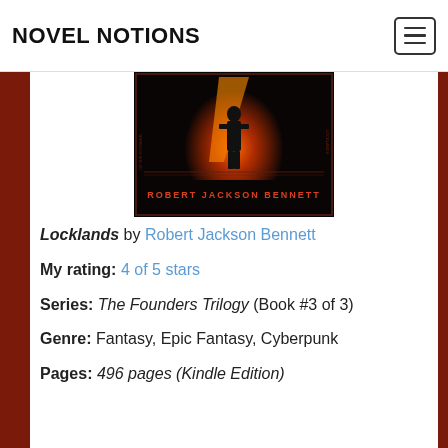NOVEL NOTIONS
[Figure (photo): Book cover for Locklands by Robert Jackson Bennett showing a dark silhouetted figure against a fiery red/orange background with author name at the bottom]
Locklands by Robert Jackson Bennett
My rating: 4 of 5 stars
Series: The Founders Trilogy (Book #3 of 3)
Genre: Fantasy, Epic Fantasy, Cyberpunk
Pages: 496 pages (Kindle Edition)